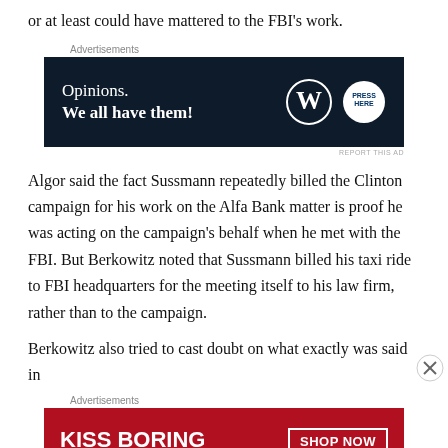or at least could have mattered to the FBI's work.
[Figure (other): Advertisement banner: dark navy background with text 'Opinions. We all have them!' and WordPress and Press Here logos]
Algor said the fact Sussmann repeatedly billed the Clinton campaign for his work on the Alfa Bank matter is proof he was acting on the campaign's behalf when he met with the FBI. But Berkowitz noted that Sussmann billed his taxi ride to FBI headquarters for the meeting itself to his law firm, rather than to the campaign.
Berkowitz also tried to cast doubt on what exactly was said in
[Figure (other): Advertisement banner: red background with text 'KISS BORING LIPS GOODBYE' and 'SHOP NOW' button and Macy's star logo]